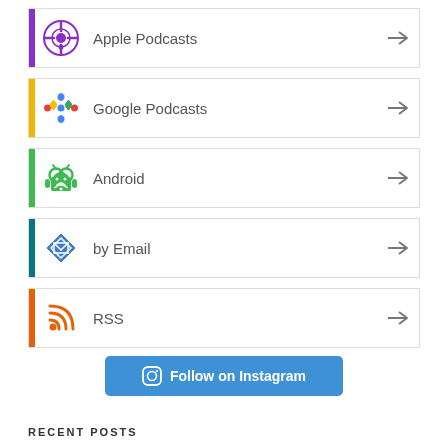Apple Podcasts
Google Podcasts
Android
by Email
RSS
[Figure (other): Follow on Instagram button with Instagram icon]
RECENT POSTS